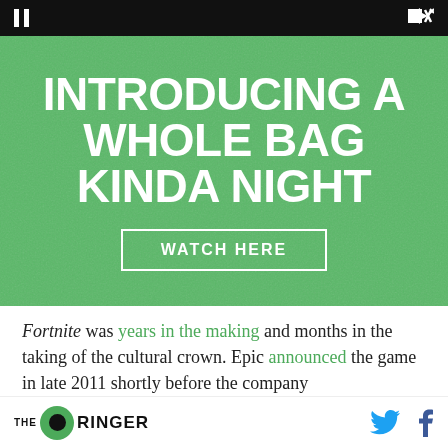[Figure (screenshot): Video player control bar with pause icon and speaker/mute icon on black background]
[Figure (infographic): Green textured advertisement banner reading 'INTRODUCING A WHOLE BAG KINDA NIGHT' with a 'WATCH HERE' button]
Fortnite was years in the making and months in the taking of the cultural crown. Epic announced the game in late 2011 shortly before the company
THE RINGER [logo] | Twitter icon | Facebook icon